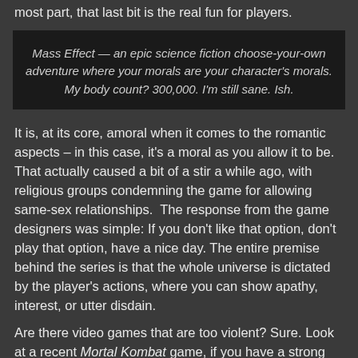most part, that last bit is the real fun for players.
[Figure (other): Dark background image box containing italic caption text about Mass Effect game]
Mass Effect — an epic science fiction choose-your-own adventure where your morals are your character's morals. My body count? 300,000. I'm still sane. Ish.
It is, at its core, amoral when it comes to the romantic aspects – in this case, it's a moral as you allow it to be. That actually caused a bit of a stir a while ago, with religious groups condemning the game for allowing same-sex relationships.  The response from the game designers was simple: If you don't like that option, don't play that option, have a nice day. The entire premise behind the series is that the whole universe is dictated by the player's actions, where you can show apathy, interest, or utter disdain.
Are there video games that are too violent? Sure. Look at a recent Mortal Kombat game, if you have a strong stomach and don't mind people being decapitated or cut in half. But I'm not that big into horror movies either. Are there games that focus too much on sex? I've heard that they exist, but I